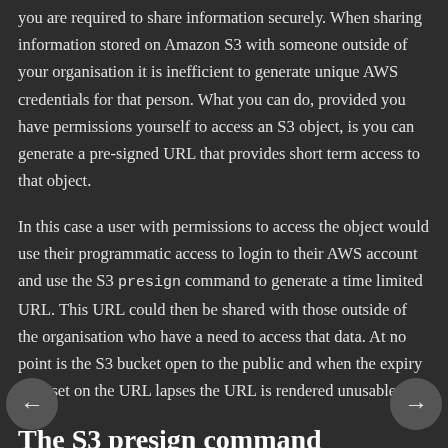you are required to share information securely. When sharing information stored on Amazon S3 with someone outside of your organisation it is inefficient to generate unique AWS credentials for that person. What you can do, provided you have permissions yourself to access an S3 object, is you can generate a pre-signed URL that provides short term access to that object.
In this case a user with permissions to access the object would use their programmatic access to login to their AWS account and use the S3 presign command to generate a time limited URL. This URL could then be shared with those outside of the organisation who have a need to access that data. At no point is the S3 bucket open to the public and when the expiry time set on the URL lapses the URL is rendered unusable.
The S3 presign command
To examine the pre-signed URL feature of S3, in the following example Prometheus's secret has been uploaded to an S3...